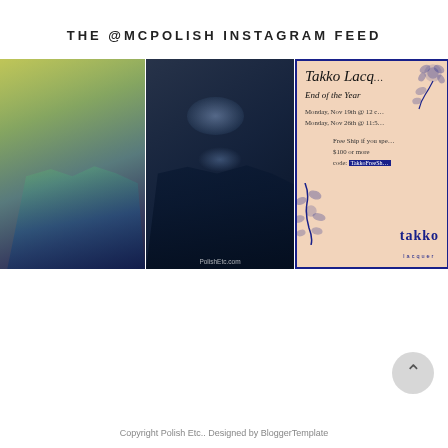THE @MCPOLISH INSTAGRAM FEED
[Figure (photo): Three Instagram photos: left shows nails with holographic green-to-blue color-shift polish, center shows dark navy/teal glittery nails with 'PolishEtc.com' watermark, right shows a Takko Lacquer promotional card with floral border on peach background advertising End of the Year sale, Monday Nov 19th and Nov 26th, free shipping code TakkoFreeSh[ip] on orders $100 or more]
Copyright Polish Etc.. Designed by BloggerTemplate